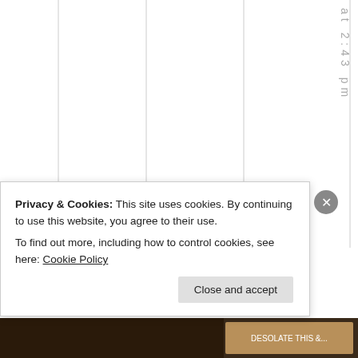at 2:43 pm
Excedrin
Extra
Privacy & Cookies: This site uses cookies. By continuing to use this website, you agree to their use.
To find out more, including how to control cookies, see here: Cookie Policy
Close and accept